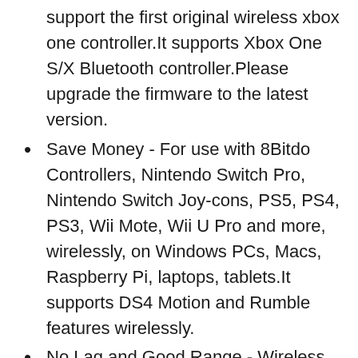support the first original wireless xbox one controller.It supports Xbox One S/X Bluetooth controller.Please upgrade the firmware to the latest version.
Save Money - For use with 8Bitdo Controllers, Nintendo Switch Pro, Nintendo Switch Joy-cons, PS5, PS4, PS3, Wii Mote, Wii U Pro and more, wirelessly, on Windows PCs, Macs, Raspberry Pi, laptops, tablets.It supports DS4 Motion and Rumble features wirelessly.
No Lag and Good Range - Wireless Bluetooth, no lag.It's one controller per 8Bitdo USB adapter.Vibration is supported on Switch and X-input mode.An OTG cable enables you to use the adapter to connect your Switch and enjoy the handheld mode directly.
Plug and Play - Simply connect the controller...